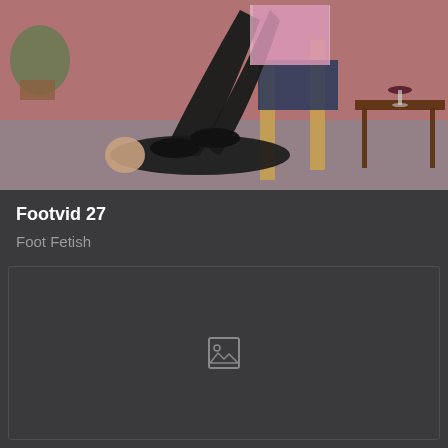[Figure (photo): A woman sitting in a wooden chair with legs extended, wearing black leggings and black flats, with a man lying on the ground below her feet, against a pink wall background. A wine glass and side table are visible on the right.]
Footvid 27
Foot Fetish
[Figure (photo): Broken/missing image placeholder with image icon in center]